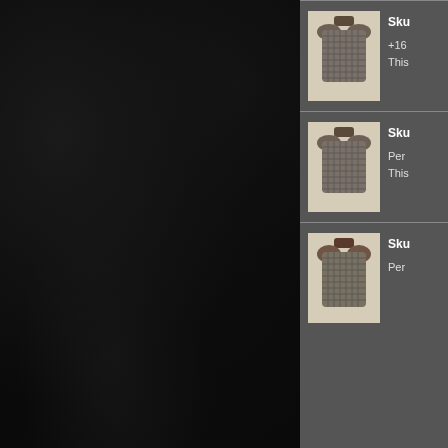[Figure (screenshot): Dark rocky/stone textured background on the left half of the screen, part of a game UI]
[Figure (illustration): Game inventory item: chainmail/plate armor torso piece shown in first slot, with truncated name starting 'Sku' and stats '+16' and 'This']
Sku
+16
This
[Figure (illustration): Game inventory item: chainmail/plate armor torso piece shown in second slot, with truncated name starting 'Sku' and stats 'Per' and 'This']
Sku
Per
This
[Figure (illustration): Game inventory item: chainmail/plate armor torso piece shown in third slot, with truncated name starting 'Sku' and stat 'Per']
Sku
Per